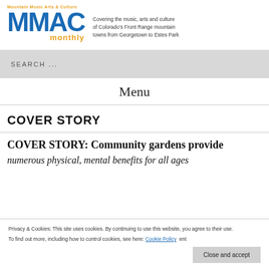[Figure (logo): MMAC Monthly logo with orange tagline text 'Mountain Music Arts & Culture' above large blue MMAC letters and orange 'monthly' below]
Covering the music, arts and culture of Colorado's Front Range mountain towns from Georgetown to Estes Park
SEARCH ...
Menu
COVER STORY
COVER STORY: Community gardens provide numerous physical, mental benefits for all ages
Privacy & Cookies: This site uses cookies. By continuing to use this website, you agree to their use. To find out more, including how to control cookies, see here: Cookie Policy
Close and accept